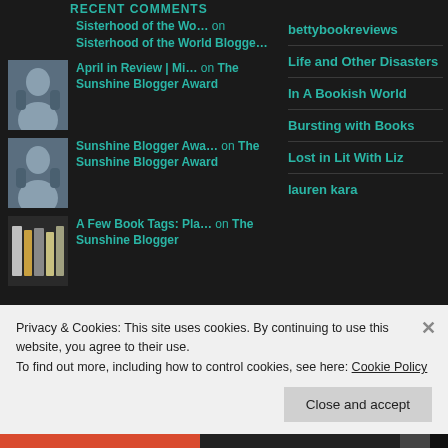RECENT COMMENTS
Sisterhood of the Wo… on Sisterhood of the World Blogge…
April in Review | Mi… on The Sunshine Blogger Award
Sunshine Blogger Awa… on The Sunshine Blogger Award
A Few Book Tags: Pla… on The Sunshine Blogger
bettybookreviews
Life and Other Disasters
In A Bookish World
Bursting with Books
Lost in Lit With Liz
lauren kara
Privacy & Cookies: This site uses cookies. By continuing to use this website, you agree to their use. To find out more, including how to control cookies, see here: Cookie Policy
Close and accept